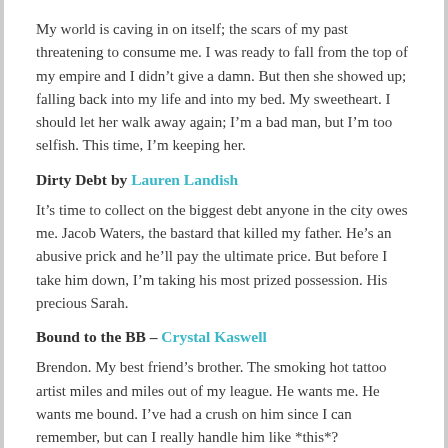My world is caving in on itself; the scars of my past threatening to consume me. I was ready to fall from the top of my empire and I didn't give a damn. But then she showed up; falling back into my life and into my bed. My sweetheart. I should let her walk away again; I'm a bad man, but I'm too selfish. This time, I'm keeping her.
Dirty Debt by Lauren Landish
It's time to collect on the biggest debt anyone in the city owes me. Jacob Waters, the bastard that killed my father. He's an abusive prick and he'll pay the ultimate price. But before I take him down, I'm taking his most prized possession. His precious Sarah.
Bound to the BB – Crystal Kaswell
Brendon. My best friend's brother. The smoking hot tattoo artist miles and miles out of my league. He wants me. He wants me bound. I've had a crush on him since I can remember, but can I really handle him like *this*?
Protector by Bella Lovewins